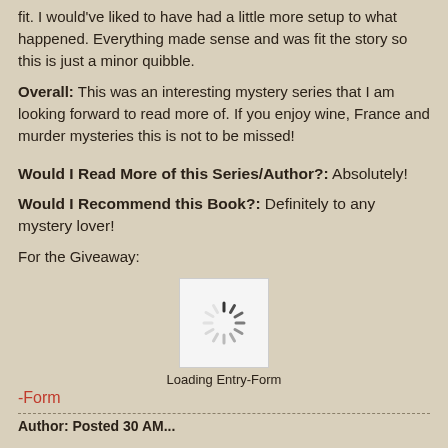fit.  I would've liked to have had a little more setup to what happened.  Everything made sense and was fit the story so this is just a minor quibble.
Overall:  This was an interesting mystery series that I am looking forward to read more of.  If you enjoy wine, France and murder mysteries this is not to be missed!
Would I Read More of this Series/Author?: Absolutely!
Would I Recommend this Book?:  Definitely to any mystery lover!
For the Giveaway:
[Figure (other): Loading spinner icon inside a white box with Loading Entry-Form label below]
-Form
Author: Posted 30 AM...